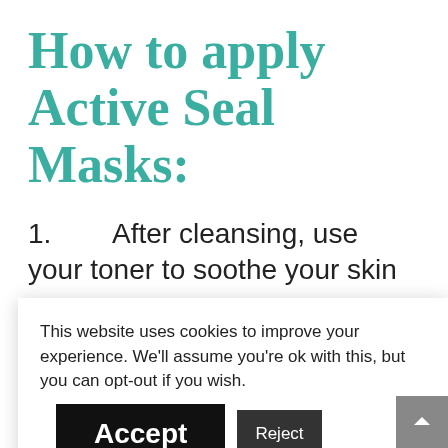How to apply Active Seal Masks:
1.      After cleansing, use your toner to soothe your skin
2.  Take off one of the... er sheet ...ice,
This website uses cookies to improve your experience. We'll assume you're ok with this, but you can opt-out if you wish. Accept Reject Read More
3. Make sure that you... from a ...venly onto